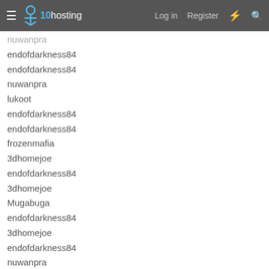x10hosting — Log in  Register
endofdarkness84
endofdarkness84
nuwanpra
lukoot
endofdarkness84
endofdarkness84
frozenmafia
3dhomejoe
endofdarkness84
3dhomejoe
Mugabuga
endofdarkness84
3dhomejoe
endofdarkness84
nuwanpra
endofdarkness84
nuwanpra
endofdarkness84
endofdarkness84